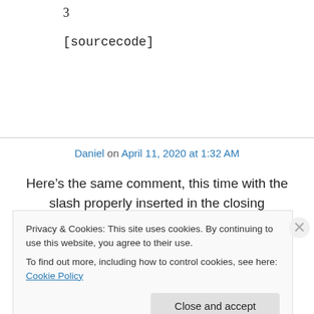3
[sourcecode]
Daniel on April 11, 2020 at 1:32 AM
Here’s the same comment, this time with the slash properly inserted in the closing
Privacy & Cookies: This site uses cookies. By continuing to use this website, you agree to their use.
To find out more, including how to control cookies, see here: Cookie Policy
Close and accept